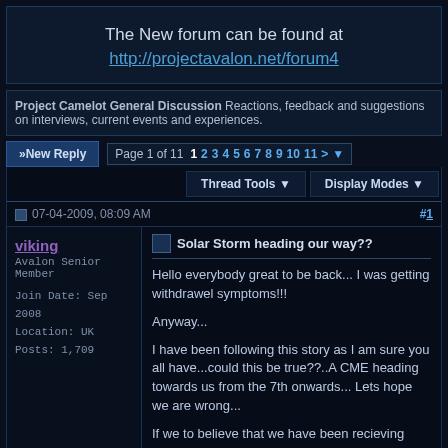The New forum can be found at http://projectavalon.net/forum4
Project Camelot General Discussion Reactions, feedback and suggestions on interviews, current events and experiences.
New Reply  Page 1 of 11  1 2 3 4 5 6 7 8 9 10 11 >
Thread Tools  Display Modes
07-04-2009, 08:09 AM  #1
viking
Avalon Senior Member

Join Date: Sep 2008
Location: UK
Posts: 1,709
Solar Storm heading our way??
Hello everybody great to be back... I was getting withdrawel symptoms!!!

Anyway...

I have been following this story as I am sure you all have...could this be true??..A CME heading towards us from the 7th onwards... Lets hope we are wrong...

If we to believe that we have been recieving messages via crop circles from our cosmic brothers then we need to look at the bigger